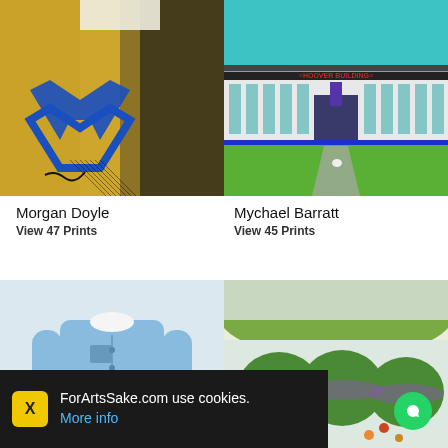[Figure (photo): Abstract mixed media artwork by Morgan Doyle — gold/brown background with blue triangular arrow shape and dark ink marks]
[Figure (illustration): Illustration of the Hoover Building facade by Mychael Barratt — teal sky, white art-deco building with 'HOOVER BUILDING' text, green lawn, small dog on path]
Morgan Doyle
View 47 Prints
Mychael Barratt
View 45 Prints
[Figure (illustration): Illustration of a headless figure in a light blue shirt, white scarf, and dark trousers]
[Figure (illustration): Illustration of topiary garden with round green shrubs, flowers, and a green hillside]
ForArtsSake.com use cookies.
More info